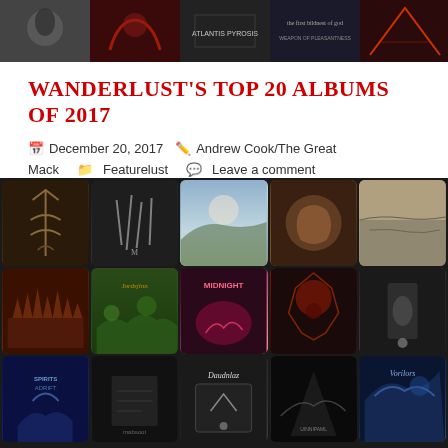[Figure (photo): Top banner strip showing album art collage in dark tones]
WANDERLUST'S TOP 20 ALBUMS OF 2017
December 20, 2017   Andrew Cook/The Great Mack   Featurelust   Leave a comment
[Figure (photo): Grid of 15 album covers arranged in 3 rows of 5, showing various metal album artwork]